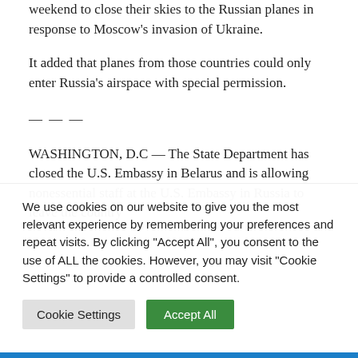weekend to close their skies to the Russian planes in response to Moscow's invasion of Ukraine.
It added that planes from those countries could only enter Russia's airspace with special permission.
— — —
WASHINGTON, D.C — The State Department has closed the U.S. Embassy in Belarus and is allowing nonessential staff at the U.S. Embassy in Russia to leave the country
We use cookies on our website to give you the most relevant experience by remembering your preferences and repeat visits. By clicking "Accept All", you consent to the use of ALL the cookies. However, you may visit "Cookie Settings" to provide a controlled consent.